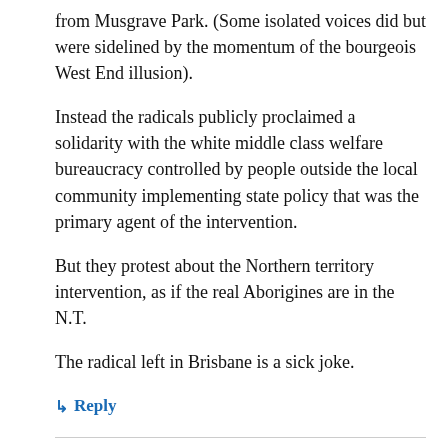from Musgrave Park. (Some isolated voices did but were sidelined by the momentum of the bourgeois West End illusion).
Instead the radicals publicly proclaimed a solidarity with the white middle class welfare bureaucracy controlled by people outside the local community implementing state policy that was the primary agent of the intervention.
But they protest about the Northern territory intervention, as if the real Aborigines are in the N.T.
The radical left in Brisbane is a sick joke.
↳ Reply
CIARON